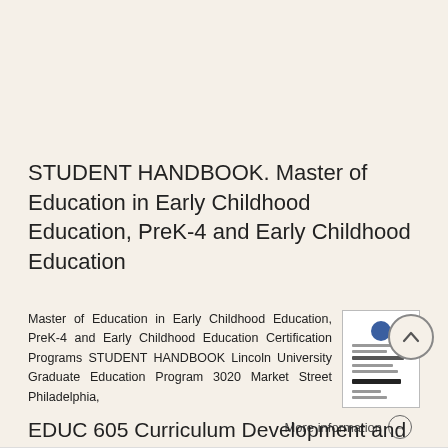STUDENT HANDBOOK. Master of Education in Early Childhood Education, PreK-4 and Early Childhood Education
Master of Education in Early Childhood Education, PreK-4 and Early Childhood Education Certification Programs STUDENT HANDBOOK Lincoln University Graduate Education Program 3020 Market Street Philadelphia,
More information →
EDUC 605 Curriculum Development and